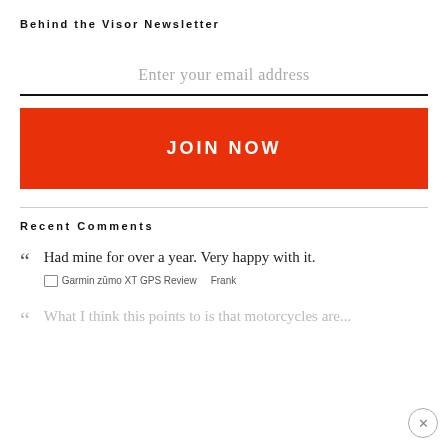Behind the Visor Newsletter
Enter your email address
JOIN NOW
Recent Comments
Had mine for over a year. Very happy with it.
Garmin zūmo XT GPS Review   Frank
What I think this points to is that motorcycles are...